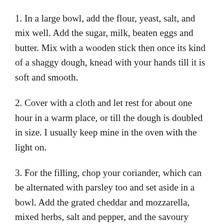1. In a large bowl, add the flour, yeast, salt, and mix well. Add the sugar, milk, beaten eggs and butter. Mix with a wooden stick then once its kind of a shaggy dough, knead with your hands till it is soft and smooth.
2. Cover with a cloth and let rest for about one hour in a warm place, or till the dough is doubled in size. I usually keep mine in the oven with the light on.
3. For the filling, chop your coriander, which can be alternated with parsley too and set aside in a bowl. Add the grated cheddar and mozzarella, mixed herbs, salt and pepper, and the savoury spice and mix well.